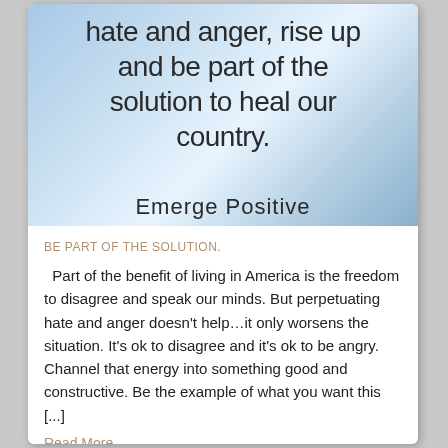[Figure (illustration): Blue gradient background with handwritten-style text reading 'hate and anger, rise up and be part of the solution to heal our country.' and at the bottom 'Emerge Positive']
BE PART OF THE SOLUTION.
Part of the benefit of living in America is the freedom to disagree and speak our minds. But perpetuating hate and anger doesn't help...it only worsens the situation. It's ok to disagree and it's ok to be angry. Channel that energy into something good and constructive. Be the example of what you want this [...]
Read More